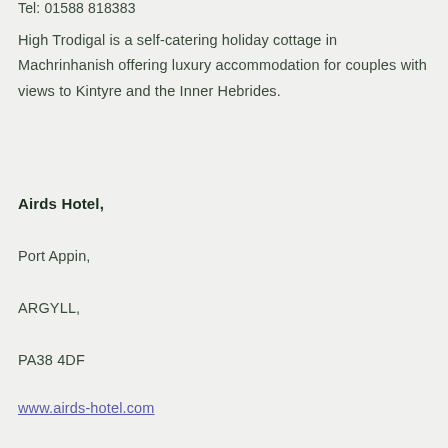Tel: 01588 818383
High Trodigal is a self-catering holiday cottage in Machrinhanish offering luxury accommodation for couples with views to Kintyre and the Inner Hebrides.
Airds Hotel,
Port Appin,
ARGYLL,
PA38 4DF
www.airds-hotel.com